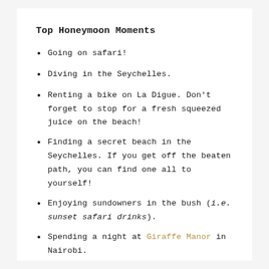Top Honeymoon Moments
Going on safari!
Diving in the Seychelles.
Renting a bike on La Digue. Don't forget to stop for a fresh squeezed juice on the beach!
Finding a secret beach in the Seychelles. If you get off the beaten path, you can find one all to yourself!
Enjoying sundowners in the bush (i.e. sunset safari drinks).
Spending a night at Giraffe Manor in Nairobi.